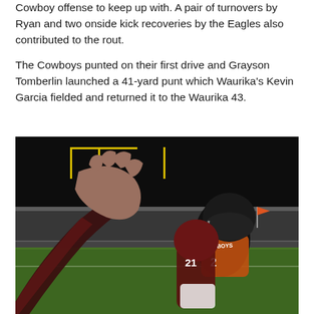Cowboy offense to keep up with. A pair of turnovers by Ryan and two onside kick recoveries by the Eagles also contributed to the rout.
The Cowboys punted on their first drive and Grayson Tomberlin launched a 41-yard punt which Waurika's Kevin Garcia fielded and returned it to the Waurika 43.
[Figure (photo): Night football game photo showing a Cowboys player in black helmet and orange jersey being tackled by a player in maroon uniform (number 21), with a goalpost visible in the background. A blurred foreground arm/hand belonging to a maroon-uniformed player is prominent in the left foreground.]